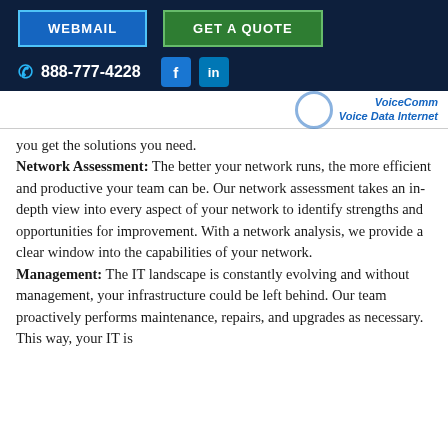WEBMAIL | GET A QUOTE | 888-777-4228
[Figure (logo): Company logo with circular emblem and text 'Voice Data Internet']
you get the solutions you need. Network Assessment: The better your network runs, the more efficient and productive your team can be. Our network assessment takes an in-depth view into every aspect of your network to identify strengths and opportunities for improvement. With a network analysis, we provide a clear window into the capabilities of your network. Management: The IT landscape is constantly evolving and without management, your infrastructure could be left behind. Our team proactively performs maintenance, repairs, and upgrades as necessary. This way, your IT is